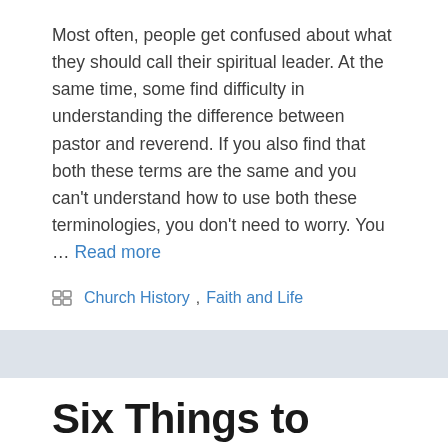Most often, people get confused about what they should call their spiritual leader. At the same time, some find difficulty in understanding the difference between pastor and reverend. If you also find that both these terms are the same and you can't understand how to use both these terminologies, you don't need to worry. You … Read more
Church History, Faith and Life
Six Things to Know